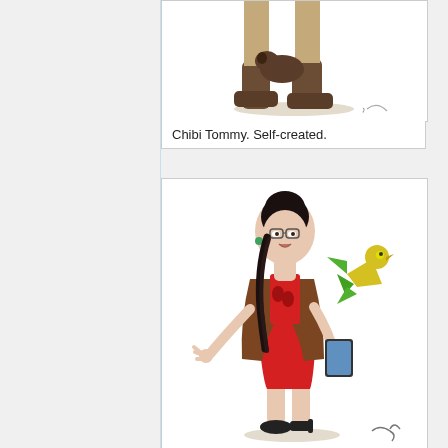[Figure (illustration): Chibi cartoon character with animal at feet, showing legs and boots with shadow, artist signature visible. Cropped top portion of illustration.]
Chibi Tommy. Self-created.
[Figure (illustration): Chibi cartoon illustration of a woman with dark hair in a braid, glasses, wearing a brown jacket over a red dress, holding a tablet, with a yellow-green parrot-like origami bird on her shoulder. Artist signature visible at bottom right.]